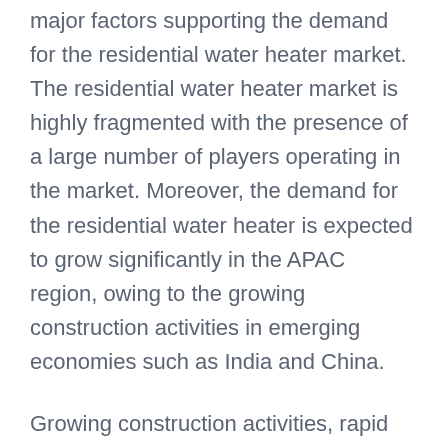major factors supporting the demand for the residential water heater market. The residential water heater market is highly fragmented with the presence of a large number of players operating in the market. Moreover, the demand for the residential water heater is expected to grow significantly in the APAC region, owing to the growing construction activities in emerging economies such as India and China.
Growing construction activities, rapid urbanization, and technological advancements are some of the significant factors driving the growth of the residential water heater market. The companies